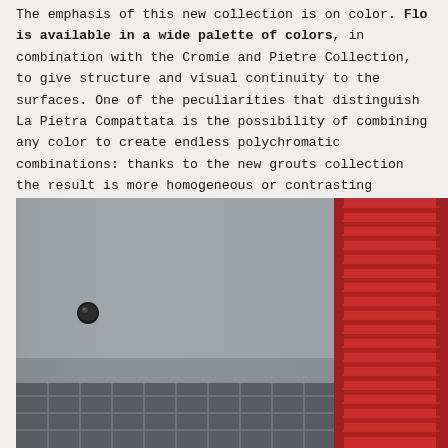The emphasis of this new collection is on color. Flo is available in a wide palette of colors, in combination with the Cromie and Pietre Collection, to give structure and visual continuity to the surfaces. One of the peculiarities that distinguish La Pietra Compattata is the possibility of combining any color to create endless polychromatic combinations: thanks to the new grouts collection the result is more homogeneous or contrasting without losing attention to the final result.
[Figure (photo): Interior photo showing a grey wall with a dark round knob/handle on the left, dark stone-look floor tiles at the bottom, and a bright red towel radiator on the right side.]